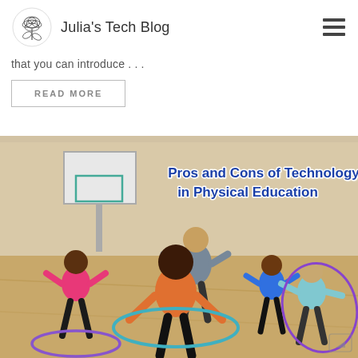Julia's Tech Blog
that you can introduce . . .
READ MORE
[Figure (photo): Children and a teacher in a gymnasium doing hula hoop activities. Text overlay reads 'Pros and Cons of Technology in Physical Education'.]